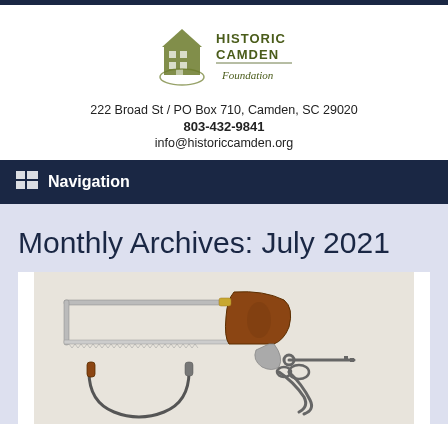[Figure (logo): Historic Camden Foundation logo with building icon and stylized text]
222 Broad St / PO Box 710, Camden, SC 29020
803-432-9841
info@historiccamden.org
Navigation
Monthly Archives: July 2021
[Figure (photo): Antique medical or surgical tools including a hacksaw-style bone saw with wooden handle, a metal key, forceps/clamps, and other instruments on a white background]